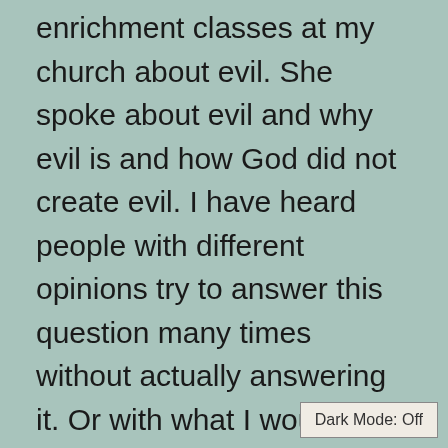enrichment classes at my church about evil. She spoke about evil and why evil is and how God did not create evil. I have heard people with different opinions try to answer this question many times without actually answering it. Or with what I would consider faulty Theology. Not well thought out or just not caring enough to take the time to answer properly. I have even heard this analogy yet not so simply stated.

She asked the class containing children from age five to twelve “is light a thing? They answered yes, she said ok is dar
Dark Mode: Off